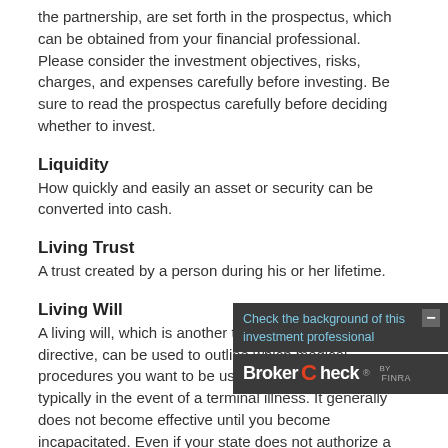the partnership, are set forth in the prospectus, which can be obtained from your financial professional. Please consider the investment objectives, risks, charges, and expenses carefully before investing. Be sure to read the prospectus carefully before deciding whether to invest.
Liquidity
How quickly and easily an asset or security can be converted into cash.
Living Trust
A trust created by a person during his or her lifetime.
Living Will
A living will, which is another type of advance medical directive, can be used to outline which medical procedures you want to be used to prolong your life, typically in the event of a terminal illness. It generally does not become effective until you become incapacitated. Even if your state does not authorize a living will, you may still want one as a way to document your wishes.
Lump-Sum Distribution
The disbursement of the entire value of an employer-sponsored retirement plan, pension, or similar account to the account owner or beneficiary. Lump-sum distributions may be rolled over into another